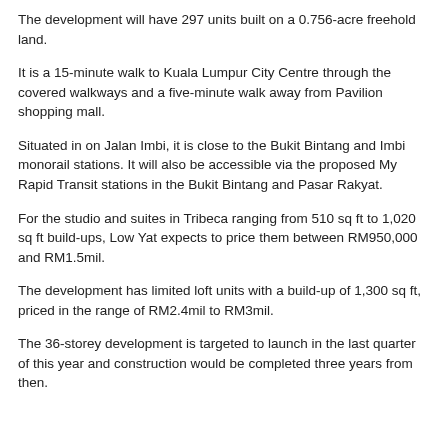The development will have 297 units built on a 0.756-acre freehold land.
It is a 15-minute walk to Kuala Lumpur City Centre through the covered walkways and a five-minute walk away from Pavilion shopping mall.
Situated in on Jalan Imbi, it is close to the Bukit Bintang and Imbi monorail stations. It will also be accessible via the proposed My Rapid Transit stations in the Bukit Bintang and Pasar Rakyat.
For the studio and suites in Tribeca ranging from 510 sq ft to 1,020 sq ft build-ups, Low Yat expects to price them between RM950,000 and RM1.5mil.
The development has limited loft units with a build-up of 1,300 sq ft, priced in the range of RM2.4mil to RM3mil.
The 36-storey development is targeted to launch in the last quarter of this year and construction would be completed three years from then.